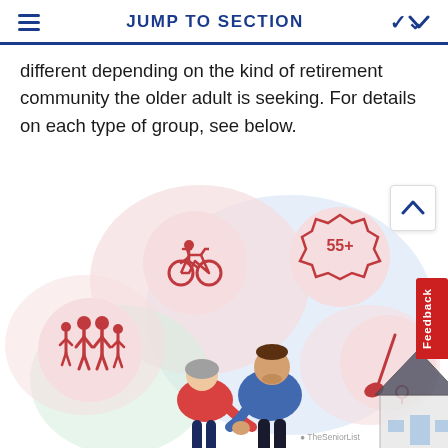JUMP TO SECTION
different depending on the kind of retirement community the older adult is seeking. For details on each type of group, see below.
[Figure (illustration): Illustration showing an elderly couple holding hands in front of houses, surrounded by four circular icons representing activities: cycling, 55+ age community badge, family/social group, and golf.]